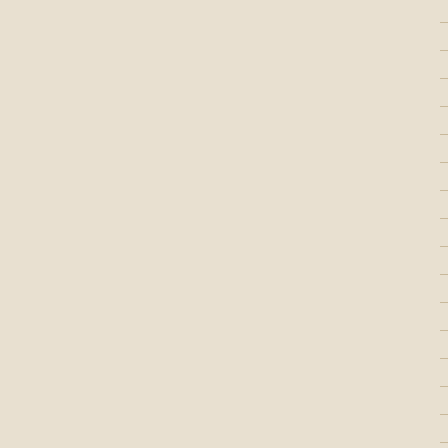| Datetime | Username |
| --- | --- |
| 2012-12-15 01:25:52 | MonkeyMa... |
| 2012-12-15 00:05:45 | Admin |
| 2012-12-11 21:14:41 | MonkeyMa... |
| 2012-12-11 20:13:08 | Admin |
| 2012-12-11 01:33:44 | MonkeyMa... |
| 2012-12-11 00:49:07 | Admin |
| 2012-12-09 01:43:11 | Admin |
| 2012-12-01 18:49:20 | MonkeyMa... |
| 2012-12-01 18:49:12 | MonkeyMa... |
| 2012-12-01 17:38:54 | Admin |
| 2012-12-01 06:29:01 | MonkeyMa... |
| 2012-12-01 06:28:51 | MonkeyMa... |
| 2012-12-01 05:30:50 | Admin |
| 2012-11-29 05:30:22 | Admin |
| 2012-11-28 07:40:19 | MonkeyMa... |
| 2012-11-28 07:39:37 | MonkeyMa... |
| 2012-11-28 07:39:22 | MonkeyMa... |